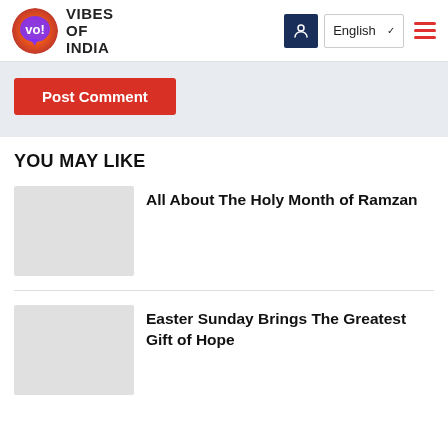VIBES OF INDIA
Post Comment
YOU MAY LIKE
All About The Holy Month of Ramzan
Easter Sunday Brings The Greatest Gift of Hope